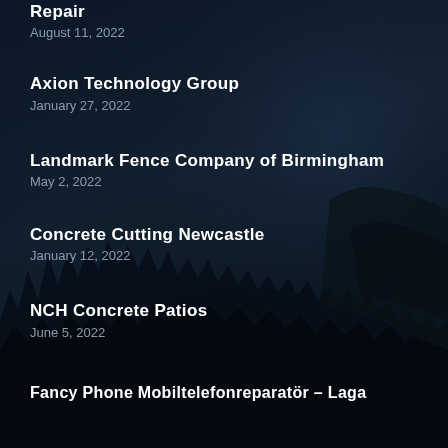Repair
August 11, 2022
Axion Technology Group
January 27, 2022
Landmark Fence Company of Birmingham
May 2, 2022
Concrete Cutting Newcastle
January 12, 2022
NCH Concrete Patios
June 5, 2022
Fancy Phone Mobiltelefonreparatör – Laga